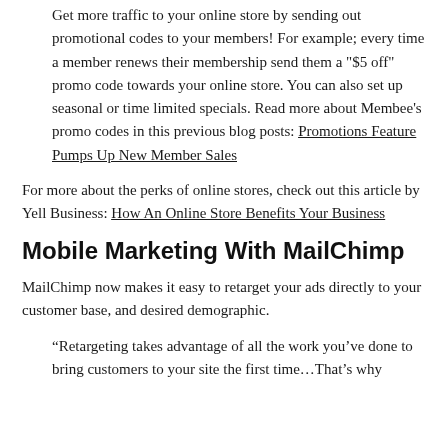Get more traffic to your online store by sending out promotional codes to your members! For example; every time a member renews their membership send them a "$5 off" promo code towards your online store. You can also set up seasonal or time limited specials. Read more about Membee's promo codes in this previous blog posts: Promotions Feature Pumps Up New Member Sales
For more about the perks of online stores, check out this article by Yell Business: How An Online Store Benefits Your Business
Mobile Marketing With MailChimp
MailChimp now makes it easy to retarget your ads directly to your customer base, and desired demographic.
“Retargeting takes advantage of all the work you’ve done to bring customers to your site the first time…That’s why